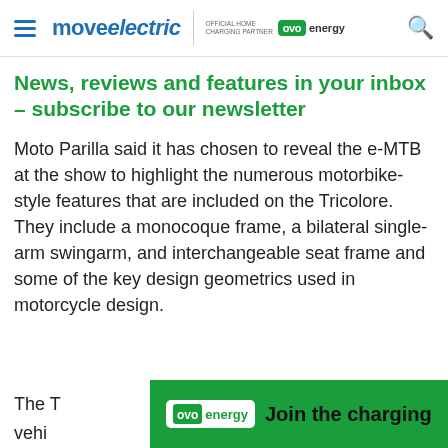move electric | OFFICIAL HOME CHARGING PARTNER ovo energy
News, reviews and features in your inbox – subscribe to our newsletter
Moto Parilla said it has chosen to reveal the e-MTB at the show to highlight the numerous motorbike-style features that are included on the Tricolore. They include a monocoque frame, a bilateral single-arm swingarm, and interchangeable seat frame and some of the key design geometrics used in motorcycle design.
The T[ricolore is classed as an electric] r vehi[cle...] bike
[Figure (logo): OVO Energy advertisement banner with green background showing OVO energy logo and 'Join the charging' text]